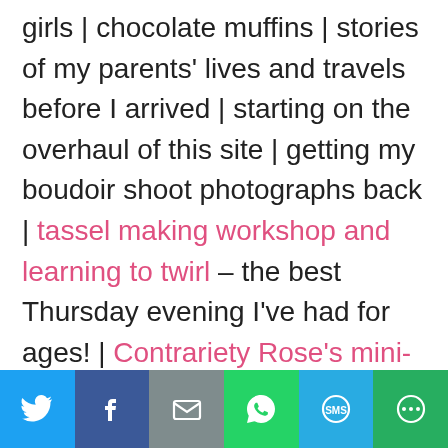girls | chocolate muffins | stories of my parents' lives and travels before I arrived | starting on the overhaul of this site | getting my boudoir shoot photographs back | tassel making workshop and learning to twirl – the best Thursday evening I've had for ages! | Contrariety Rose's mini-boutique in Creative Crafts in Reading | roof-down driving on a Tuesday evening | impromptu dinner and giggles with my parents | fairy
[Figure (other): Social sharing bar with icons for Twitter, Facebook, Email, WhatsApp, SMS, and More]